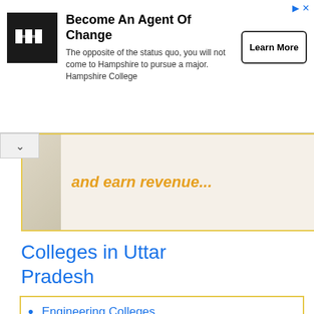[Figure (infographic): Advertisement banner for Hampshire College: logo (black square with white lines), headline 'Become An Agent Of Change', body text 'The opposite of the status quo, you will not come to Hampshire to pursue a major. Hampshire College', and a 'Learn More' button. Top-right shows ad icons.]
[Figure (infographic): Collapsed promotional banner with beige/cream background, yellow border, partial image of a person on the left, and italic orange text reading 'and earn revenue...'. A collapse arrow button is shown at left.]
Colleges in Uttar Pradesh
Engineering Colleges
Medical Colleges
Nursing Colleges
Law Colleges
B.Ed Colleges
Management Studies Colleges